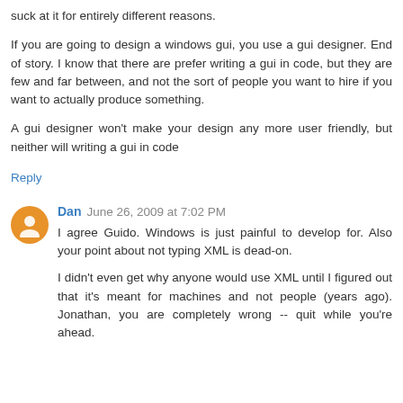suck at it for entirely different reasons.
If you are going to design a windows gui, you use a gui designer. End of story. I know that there are prefer writing a gui in code, but they are few and far between, and not the sort of people you want to hire if you want to actually produce something.
A gui designer won't make your design any more user friendly, but neither will writing a gui in code
Reply
Dan June 26, 2009 at 7:02 PM
I agree Guido. Windows is just painful to develop for. Also your point about not typing XML is dead-on.
I didn't even get why anyone would use XML until I figured out that it's meant for machines and not people (years ago). Jonathan, you are completely wrong -- quit while you're ahead.